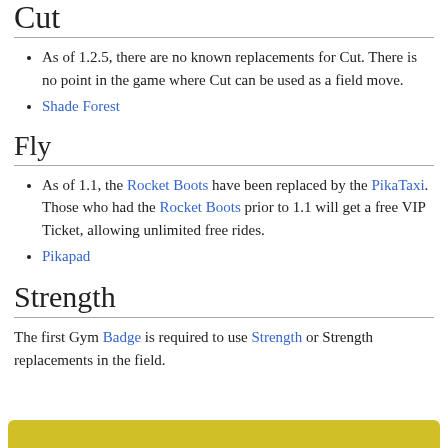Cut
As of 1.2.5, there are no known replacements for Cut. There is no point in the game where Cut can be used as a field move.
Shade Forest
Fly
As of 1.1, the Rocket Boots have been replaced by the PikaTaxi. Those who had the Rocket Boots prior to 1.1 will get a free VIP Ticket, allowing unlimited free rides.
Pikapad
Strength
The first Gym Badge is required to use Strength or Strength replacements in the field.